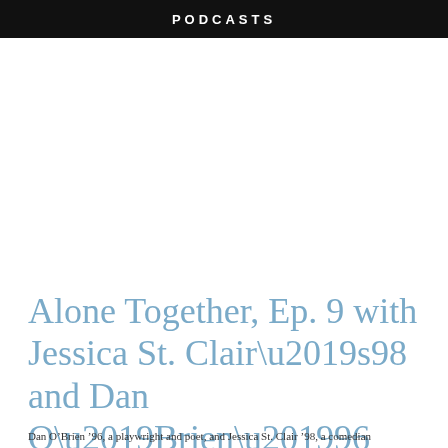PODCASTS
Alone Together, Ep. 9 with Jessica St. Clair ’98 and Dan O’Brien ’96
Dan O’Brien ’96, a playwright and poet, and Jessica St. Clair ’98, a comedian